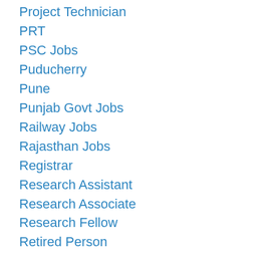Project Technician
PRT
PSC Jobs
Puducherry
Pune
Punjab Govt Jobs
Railway Jobs
Rajasthan Jobs
Registrar
Research Assistant
Research Associate
Research Fellow
Retired Person